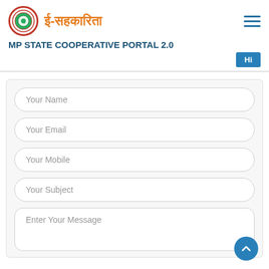ई-सहकारिता — MP STATE COOPERATIVE PORTAL 2.0
[Figure (logo): Circular emblem/seal logo for MP State Cooperative Portal with red border and green inner design]
Hi
Your Name
Your Email
Your Mobile
Your Subject
Enter Your Message